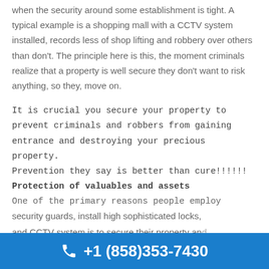when the security around some establishment is tight. A typical example is a shopping mall with a CCTV system installed, records less of shop lifting and robbery over others than don't. The principle here is this, the moment criminals realize that a property is well secure they don't want to risk anything, so they, move on.
It is crucial you secure your property to prevent criminals and robbers from gaining entrance and destroying your precious property.
Prevention they say is better than cure!!!!!!
Protection of valuables and assets
One of the primary reasons people employ security guards, install high sophisticated locks, and CCTV system is to secure their property and
+1 (858)353-7430